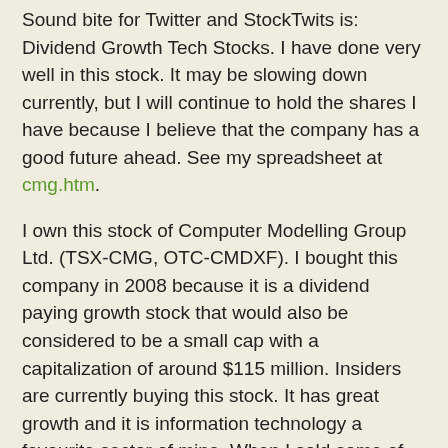Sound bite for Twitter and StockTwits is: Dividend Growth Tech Stocks. I have done very well in this stock. It may be slowing down currently, but I will continue to hold the shares I have because I believe that the company has a good future ahead. See my spreadsheet at cmg.htm.
I own this stock of Computer Modelling Group Ltd. (TSX-CMG, OTC-CMDXF). I bought this company in 2008 because it is a dividend paying growth stock that would also be considered to be a small cap with a capitalization of around $115 million. Insiders are currently buying this stock. It has great growth and it is information technology a favourite sector of mine. When I sold some of my TD Bank stock in June 2009, I bought some more. Because the stock grew rapidly and because it is a tech stock, I sold some shares in 2011 to lock in profit.
The dividend yield and the dividend growth are both good on this stock. However, dividend growth has been slowing down lately. The current dividend yield is 3.05% based on a stock price of $13.11. The dividends have growth at 17.3% and 34.9% over the past 5 and 10 years. The last dividend increase was in 2015 and it was a 5.0% increase. The d...